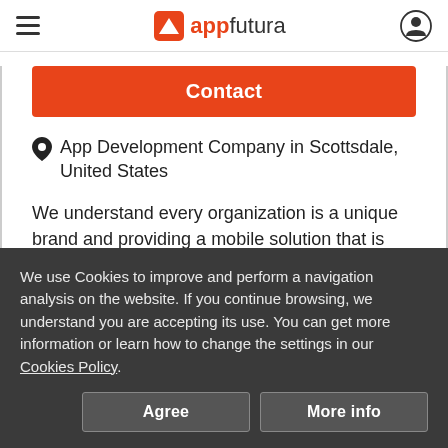appfutura
Contact
App Development Company in Scottsdale, United States
We understand every organization is a unique brand and providing a mobile solution that is custom and integrated to your marketing strate…
We use Cookies to improve and perform a navigation analysis on the website. If you continue browsing, we understand you are accepting its use. You can get more information or learn how to change the settings in our Cookies Policy.